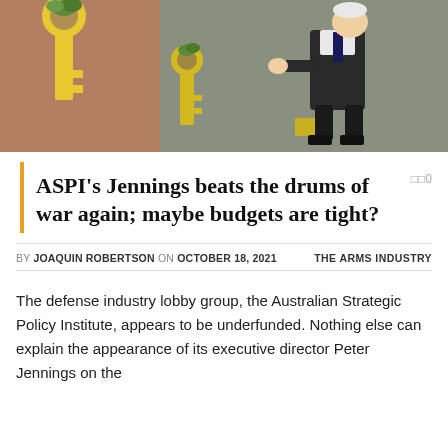[Figure (illustration): Cartoon/illustration image showing a person in dark clothing appearing to plant or arrange yellow key-shaped objects on a brownish-green background]
ASPI's Jennings beats the drums of war again; maybe budgets are tight?
BY JOAQUIN ROBERTSON ON OCTOBER 18, 2021   THE ARMS INDUSTRY
The defense industry lobby group, the Australian Strategic Policy Institute, appears to be underfunded. Nothing else can explain the appearance of its executive director Peter Jennings on the